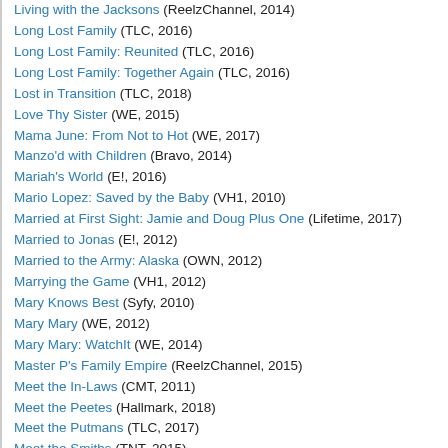Living with the Jacksons (ReelzChannel, 2014)
Long Lost Family (TLC, 2016)
Long Lost Family: Reunited (TLC, 2016)
Long Lost Family: Together Again (TLC, 2016)
Lost in Transition (TLC, 2018)
Love Thy Sister (WE, 2015)
Mama June: From Not to Hot (WE, 2017)
Manzo'd with Children (Bravo, 2014)
Mariah's World (E!, 2016)
Mario Lopez: Saved by the Baby (VH1, 2010)
Married at First Sight: Jamie and Doug Plus One (Lifetime, 2017)
Married to Jonas (E!, 2012)
Married to the Army: Alaska (OWN, 2012)
Marrying the Game (VH1, 2012)
Mary Knows Best (Syfy, 2010)
Mary Mary (WE, 2012)
Mary Mary: WatchIt (WE, 2014)
Master P's Family Empire (ReelzChannel, 2015)
Meet the In-Laws (CMT, 2011)
Meet the Peetes (Hallmark, 2018)
Meet the Putmans (TLC, 2017)
Meet the Smiths (TNT, 2015)
Mel B: It's a Scary World (style, 2010)
Mexican Dynasties (Bravo, 2019)
Missouri Mountain Family (Animal Planet, 2017)